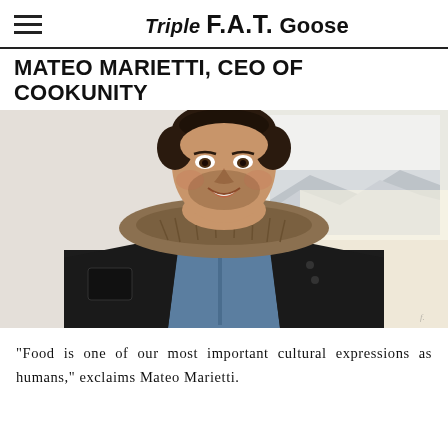Triple F.A.T. Goose
MATEO MARIETTI, CEO OF COOKUNITY
[Figure (photo): Portrait photo of Mateo Marietti, a man with dark hair and stubble wearing a dark down jacket with fur-trimmed hood over a blue chambray shirt, smiling, photographed indoors near a bright window with snow-covered rooftops visible in the background.]
“Food is one of our most important cultural expressions as humans,” exclaims Mateo Marietti.